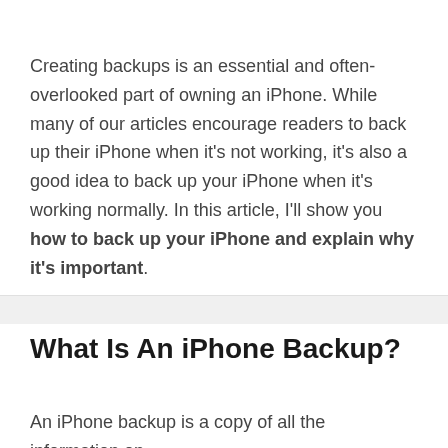Creating backups is an essential and often-overlooked part of owning an iPhone. While many of our articles encourage readers to back up their iPhone when it's not working, it's also a good idea to back up your iPhone when it's working normally. In this article, I'll show you how to back up your iPhone and explain why it's important.
What Is An iPhone Backup?
An iPhone backup is a copy of all the information on